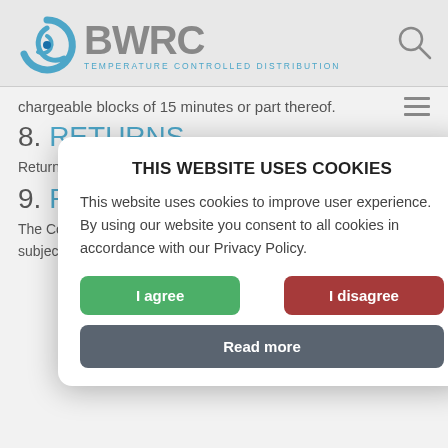[Figure (logo): BWRC Temperature Controlled Distribution logo with blue swirl icon and grey BWRC lettering]
chargeable blocks of 15 minutes or part thereof.
8. RETURNS
Returns will only be accepted for full outer cases, loose cases (partially filled outers) and loose pallets will be...
9. PALLET...
The Company... one basis. All... packaging which can be collected subject to the...
THIS WEBSITE USES COOKIES
This website uses cookies to improve user experience. By using our website you consent to all cookies in accordance with our Privacy Policy.
I agree
I disagree
Read more